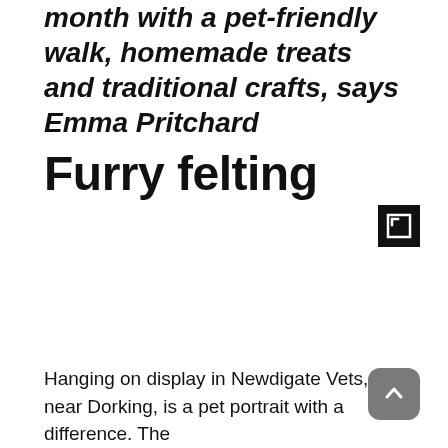month with a pet-friendly walk, homemade treats and traditional crafts, says Emma Pritchard
Furry felting
[Figure (other): Expand/fullscreen icon button — black square with bracket corner symbol]
[Figure (other): Scroll-to-top button — grey rounded square with upward chevron arrow]
Hanging on display in Newdigate Vets, near Dorking, is a pet portrait with a difference. The